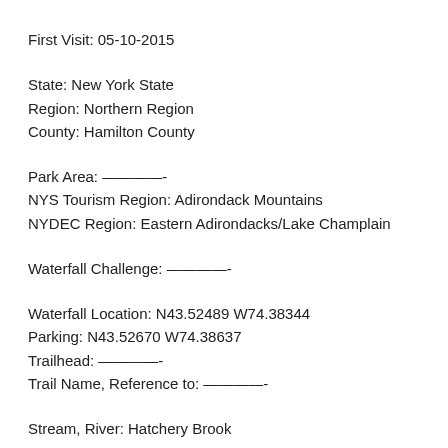First Visit: 05-10-2015
State: New York State
Region: Northern Region
County: Hamilton County
Park Area: ————-
NYS Tourism Region: Adirondack Mountains
NYDEC Region: Eastern Adirondacks/Lake Champlain
Waterfall Challenge: ————-
Waterfall Location: N43.52489 W74.38344
Parking: N43.52670 W74.38637
Trailhead: ————-
Trail Name, Reference to: ————-
Stream, River: Hatchery Brook